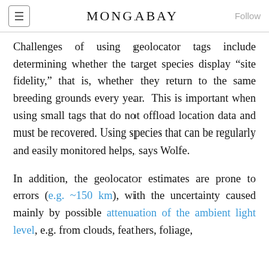MONGABAY
Challenges of using geolocator tags include determining whether the target species display “site fidelity,” that is, whether they return to the same breeding grounds every year.  This is important when using small tags that do not offload location data and must be recovered. Using species that can be regularly and easily monitored helps, says Wolfe.
In addition, the geolocator estimates are prone to errors (e.g. ~150 km), with the uncertainty caused mainly by possible attenuation of the ambient light level, e.g. from clouds, feathers, foliage,